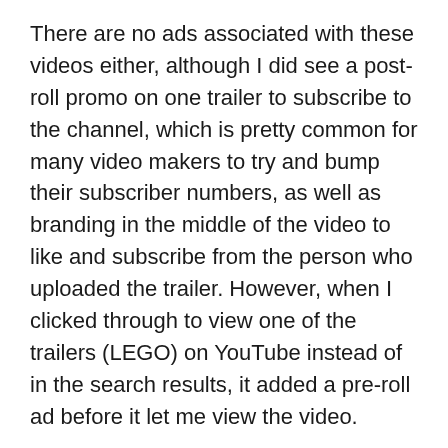There are no ads associated with these videos either, although I did see a post-roll promo on one trailer to subscribe to the channel, which is pretty common for many video makers to try and bump their subscriber numbers, as well as branding in the middle of the video to like and subscribe from the person who uploaded the trailer.  However, when I clicked through to view one of the trailers (LEGO) on YouTube instead of in the search results, it added a pre-roll ad before it let me view the video.
Also worth noting is the query.  Neither queries were specifically looking for a video, but rather a release date or just information.  So while it could make sense Google would autoplay a video for a specific trailer or video content query, when you search specifically for the trailer, there is a featured snippet style video in the main search results.